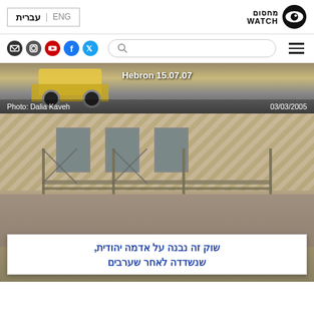עברית | ENG — Machsom Watch logo
[Figure (screenshot): Navigation bar with social media icons (email, Instagram, YouTube, Facebook, Twitter), search bar, and hamburger menu]
[Figure (photo): Partial photo showing vehicle, with overlay text 'Hebron 15.07.07', credit 'Photo: Dalia Kaveh', date '03/03/2005']
[Figure (photo): Photo of a building under construction with scaffolding. A large banner in Hebrew reads: שוק זה נבנה על אדמה יהודית, שנשדדה לאחר שערבים (This market was built on Jewish land, that was robbed by Arabs)]